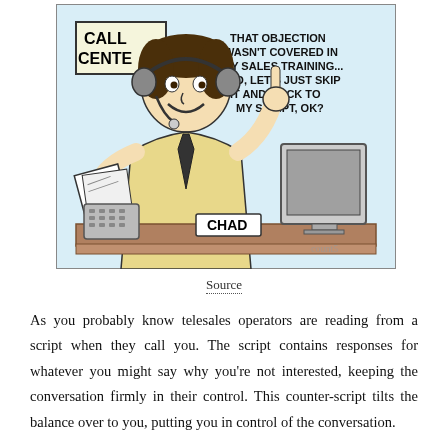[Figure (illustration): Comic cartoon of a call center worker named Chad sitting at a desk with a computer, wearing a headset and holding up one finger, with a speech bubble reading 'THAT OBJECTION WASN'T COVERED IN MY SALES TRAINING... SO, LET'S JUST SKIP IT AND STICK TO MY SCRIPT, OK?' A 'CALL CENTER' sign is visible in the background. The name tag on the desk reads 'CHAD'.]
Source
As you probably know telesales operators are reading from a script when they call you. The script contains responses for whatever you might say why you're not interested, keeping the conversation firmly in their control. This counter-script tilts the balance over to you, putting you in control of the conversation.